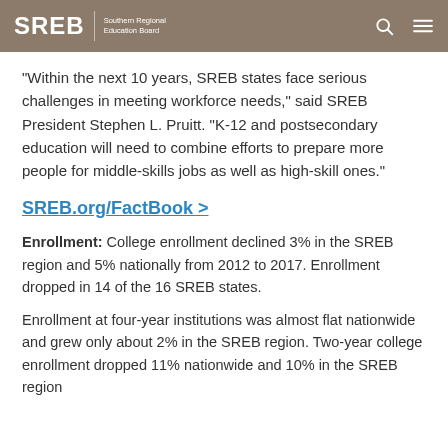SREB | Southern Regional Education Board
“Within the next 10 years, SREB states face serious challenges in meeting workforce needs,” said SREB President Stephen L. Pruitt. “K-12 and postsecondary education will need to combine efforts to prepare more people for middle-skills jobs as well as high-skill ones.”
SREB.org/FactBook >
Enrollment: College enrollment declined 3% in the SREB region and 5% nationally from 2012 to 2017. Enrollment dropped in 14 of the 16 SREB states.
Enrollment at four-year institutions was almost flat nationwide and grew only about 2% in the SREB region. Two-year college enrollment dropped 11% nationwide and 10% in the SREB region